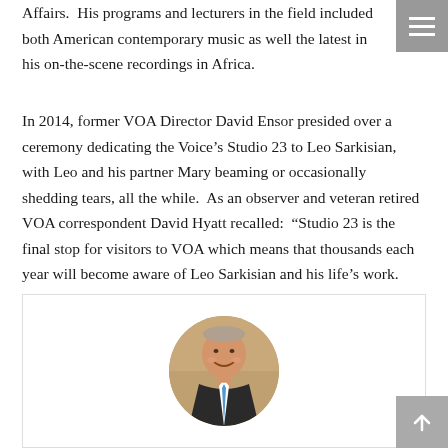Affairs.  His programs and lecturers in the field included both American contemporary music as well the latest in his on-the-scene recordings in Africa.
In 2014, former VOA Director David Ensor presided over a ceremony dedicating the Voice's Studio 23 to Leo Sarkisian, with Leo and his partner Mary beaming or occasionally shedding tears, all the while.  As an observer and veteran retired VOA correspondent David Hyatt recalled:  “Studio 23 is the final stop for visitors to VOA which means that thousands each year will become aware of Leo Sarkisian and his life’s work.  How’s that for a touch of humanity?”
[Figure (photo): Circular portrait photo of a smiling elderly man in a dark suit with a blue tie, set against a brick wall background, displayed inside a rounded bordered frame.]